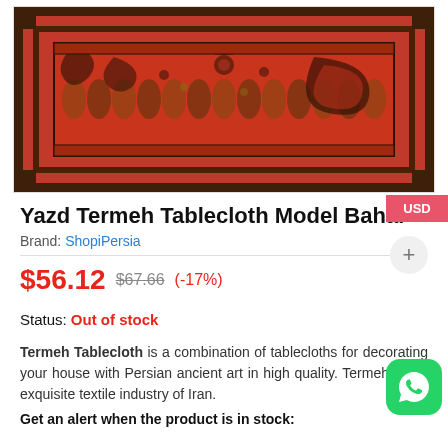[Figure (photo): Close-up photograph of a red Persian/Iranian Termeh tablecloth with dark blue and gold intricate floral and paisley patterns, showing detailed weaving]
Yazd Termeh Tablecloth Model Bahar
Brand: ShopiPersia
$56.12  $67.66  (-17%)
Status: Out of stock
Termeh Tablecloth is a combination of tablecloths for decorating your house with Persian ancient art in high quality. Termeh is the exquisite textile industry of Iran.
Get an alert when the product is in stock: